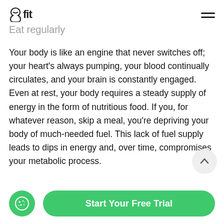healthy way
8fit  [hamburger menu]
Eat regularly
Your body is like an engine that never switches off; your heart's always pumping, your blood continually circulates, and your brain is constantly engaged. Even at rest, your body requires a steady supply of energy in the form of nutritious food. If you, for whatever reason, skip a meal, you're depriving your body of much-needed fuel. This lack of fuel supply leads to dips in energy and, over time, compromises your metabolic process.
By eating regular meals, with about three to five hours between them, you'll save your body from losing any important muscle tissue. 8fit's standard
Start Your Free Trial